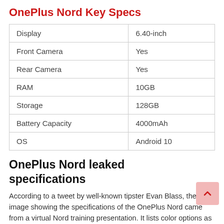OnePlus Nord Key Specs
| Display | 6.40-inch |
| Front Camera | Yes |
| Rear Camera | Yes |
| RAM | 10GB |
| Storage | 128GB |
| Battery Capacity | 4000mAh |
| OS | Android 10 |
OnePlus Nord leaked specifications
According to a tweet by well-known tipster Evan Blass, the image showing the specifications of the OnePlus Nord came from a virtual Nord training presentation. It lists color options as Blue Marble, Gray Ash, and Gray Onyx.